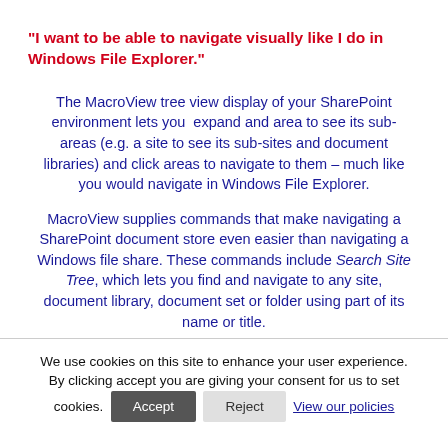"I want to be able to navigate visually like I do in Windows File Explorer."
The MacroView tree view display of your SharePoint environment lets you expand and area to see its sub-areas (e.g. a site to see its sub-sites and document libraries) and click areas to navigate to them – much like you would navigate in Windows File Explorer.
MacroView supplies commands that make navigating a SharePoint document store even easier than navigating a Windows file share. These commands include Search Site Tree, which lets you find and navigate to any site, document library, document set or folder using part of its name or title.
We use cookies on this site to enhance your user experience. By clicking accept you are giving your consent for us to set cookies. Accept  Reject  View our policies